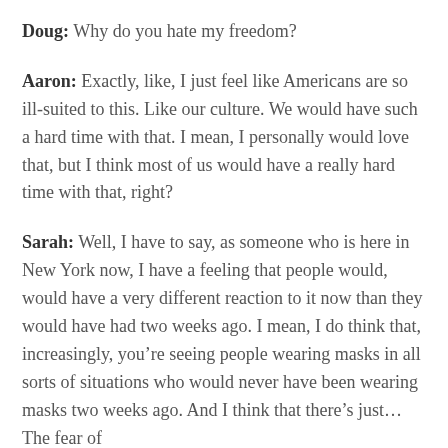Doug: Why do you hate my freedom?
Aaron: Exactly, like, I just feel like Americans are so ill-suited to this. Like our culture. We would have such a hard time with that. I mean, I personally would love that, but I think most of us would have a really hard time with that, right?
Sarah: Well, I have to say, as someone who is here in New York now, I have a feeling that people would, would have a very different reaction to it now than they would have had two weeks ago. I mean, I do think that, increasingly, you’re seeing people wearing masks in all sorts of situations who would never have been wearing masks two weeks ago. And I think that there’s just... The fear of